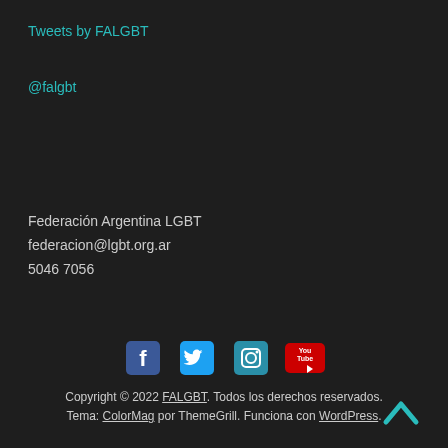Tweets by FALGBT
@falgbt
Federación Argentina LGBT
federacion@lgbt.org.ar
5046 7056
[Figure (other): Social media icons: Facebook, Twitter, Instagram, YouTube]
Copyright © 2022 FALGBT. Todos los derechos reservados. Tema: ColorMag por ThemeGrill. Funciona con WordPress.